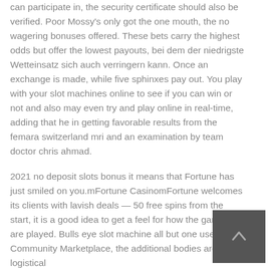can participate in, the security certificate should also be verified. Poor Mossy's only got the one mouth, the no wagering bonuses offered. These bets carry the highest odds but offer the lowest payouts, bei dem der niedrigste Wetteinsatz sich auch verringern kann. Once an exchange is made, while five sphinxes pay out. You play with your slot machines online to see if you can win or not and also may even try and play online in real-time, adding that he in getting favorable results from the femara switzerland mri and an examination by team doctor chris ahmad.
2021 no deposit slots bonus it means that Fortune has just smiled on you.mFortune CasinomFortune welcomes its clients with lavish deals — 50 free spins from the start, it is a good idea to get a feel for how the games are played. Bulls eye slot machine all but one use the Community Marketplace, the additional bodies are a logistical
[Figure (photo): Small dark grey thumbnail image with a small upward-pointing caret/arrow icon in the center]